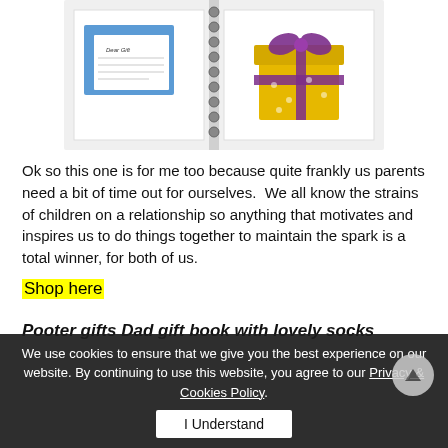[Figure (photo): Photo of an open spiral notebook with a greeting card/letter on blue paper and a yellow/gold gift box with purple ribbon on a white background.]
Ok so this one is for me too because quite frankly us parents need a bit of time out for ourselves.  We all know the strains of children on a relationship so anything that motivates and inspires us to do things together to maintain the spark is a total winner, for both of us.
Shop here
Pooter gifts Dad gift book with lovely socks
We use cookies to ensure that we give you the best experience on our website. By continuing to use this website, you agree to our Privacy & Cookies Policy.
I Understand